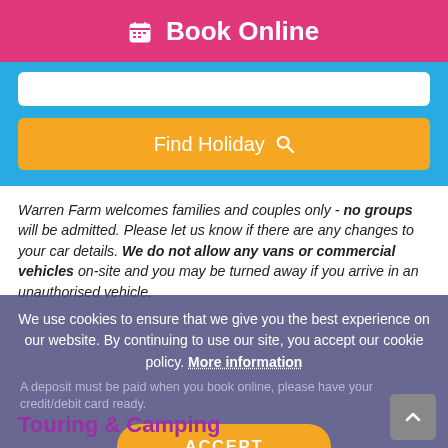📅 Book Online
[Figure (screenshot): Blue section with white search input box and orange 'Find Holiday' button with a search icon]
Warren Farm welcomes families and couples only - no groups will be admitted. Please let us know if there are any changes to your car details. We do not allow any vans or commercial vehicles on-site and you may be turned away if you arrive in an unauthorised vehicle.
We use cookies to ensure that we give you the best experience on our website. By continuing to use our site, you accept our cookie policy. More information
A deposit must be paid when you book online, please have your credit/debit card ready.
ACCEPT
Touring & Camping